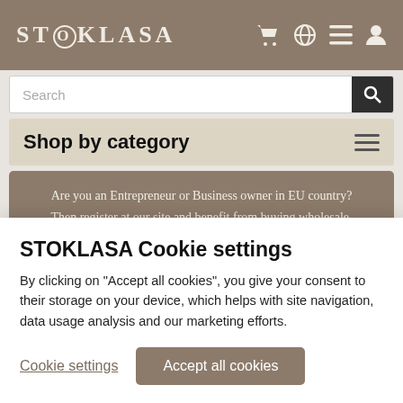STOKLASA
Search
Shop by category
Are you an Entrepreneur or Business owner in EU country? Then register at our site and benefit from buying wholesale. Special offer for new wholesalers - get free shipping for your 1st order over 50Eur! More here.
Craft & Hobbies › Creative Activities and Sets for
STOKLASA Cookie settings
By clicking on "Accept all cookies", you give your consent to their storage on your device, which helps with site navigation, data usage analysis and our marketing efforts.
Cookie settings
Accept all cookies